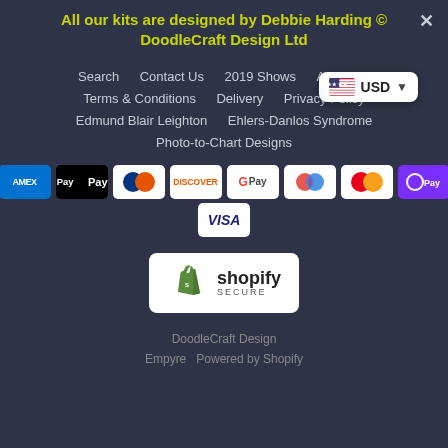All our kits are designed by Debbie Harding © DoodleCraft Design Ltd
[Figure (other): USD currency selector with US flag]
Search
Contact Us
2019 Shows
About Us
Terms & Conditions
Delivery
Privacy Policy
Edmund Blair Leighton
Ehlers-Danlos Syndrome
Photo-to-Chart Designs
[Figure (other): Payment method icons: AMEX, Apple Pay, Diners Club, Discover, Google Pay, PayPal, Mastercard, Samsung Pay, Visa]
[Figure (logo): Shopify Secure badge]
DoodleCraft Design   Empyre  Powered by Shopify